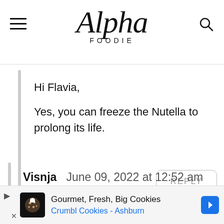Alpha Foodie
Hi Flavia,
Yes, you can freeze the Nutella to prolong its life.
REPLY
Visnja   June 09, 2022 at 12:52 am
[Figure (screenshot): Advertisement banner: Gourmet, Fresh, Big Cookies - Crumbl Cookies - Ashburn with navigation arrow icon]